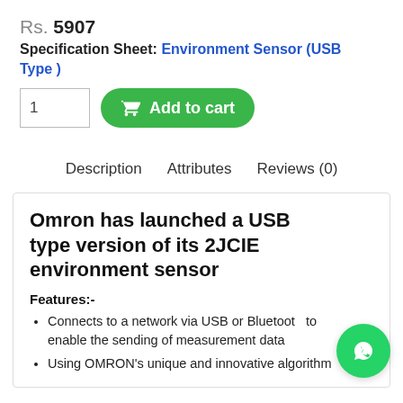Rs. 5907
Specification Sheet: Environment Sensor (USB Type )
[Figure (screenshot): Quantity input box showing 1 and green Add to cart button with shopping cart icon]
Description   Attributes   Reviews (0)
Omron has launched a USB type version of its 2JCIE environment sensor
Features:-
Connects to a network via USB or Bluetooth to enable the sending of measurement data
Using OMRON's unique and innovative algorithm